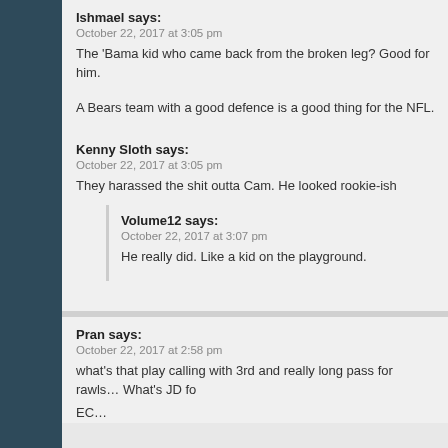Ishmael says:
October 22, 2017 at 3:05 pm
The 'Bama kid who came back from the broken leg? Good for him.
A Bears team with a good defence is a good thing for the NFL.
Kenny Sloth says:
October 22, 2017 at 3:05 pm
They harassed the shit outta Cam. He looked rookie-ish
Volume12 says:
October 22, 2017 at 3:07 pm
He really did. Like a kid on the playground.
Pran says:
October 22, 2017 at 2:58 pm
what's that play calling with 3rd and really long pass for rawls… What's JD fo EC…